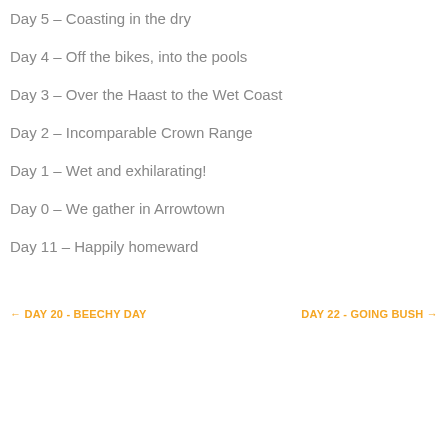Day 5 – Coasting in the dry
Day 4 – Off the bikes, into the pools
Day 3 – Over the Haast to the Wet Coast
Day 2 – Incomparable Crown Range
Day 1 – Wet and exhilarating!
Day 0 – We gather in Arrowtown
Day 11 – Happily homeward
← DAY 20 - BEECHY DAY    DAY 22 - GOING BUSH →